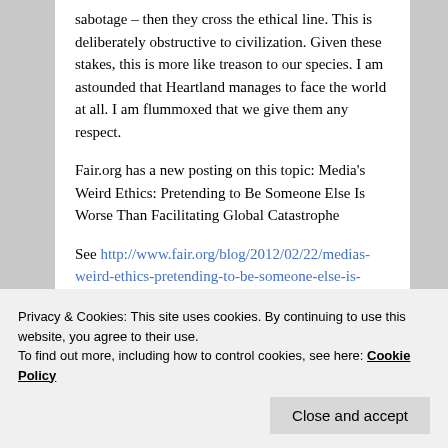sabotage – then they cross the ethical line. This is deliberately obstructive to civilization. Given these stakes, this is more like treason to our species. I am astounded that Heartland manages to face the world at all. I am flummoxed that we give them any respect.
Fair.org has a new posting on this topic: Media's Weird Ethics: Pretending to Be Someone Else Is Worse Than Facilitating Global Catastrophe
See http://www.fair.org/blog/2012/02/22/medias-weird-ethics-pretending-to-be-someone-else-is-worse-than-facilitating-global-catastrophe/
Privacy & Cookies: This site uses cookies. By continuing to use this website, you agree to their use. To find out more, including how to control cookies, see here: Cookie Policy